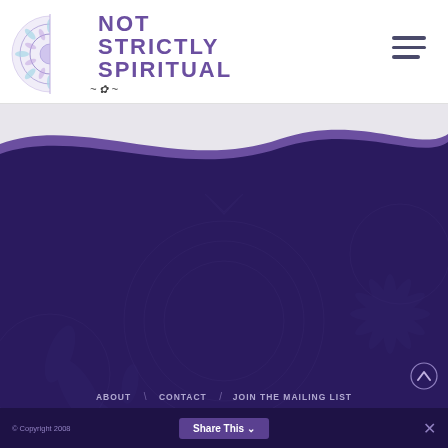[Figure (logo): Not Strictly Spiritual logo — mandala icon with purple text]
[Figure (illustration): Hamburger menu icon (three horizontal lines) in top right corner]
[Figure (illustration): Wave-shaped purple divider separating header from dark footer section]
[Figure (logo): Not Strictly Spiritual logo reversed on dark purple background in footer area with decorative mandala background pattern]
ABOUT  |  CONTACT  |  JOIN THE MAILING LIST
© Copyright 2008 Share This  ✓  rris Foust. All
[Figure (illustration): Up chevron arrow button on right side]